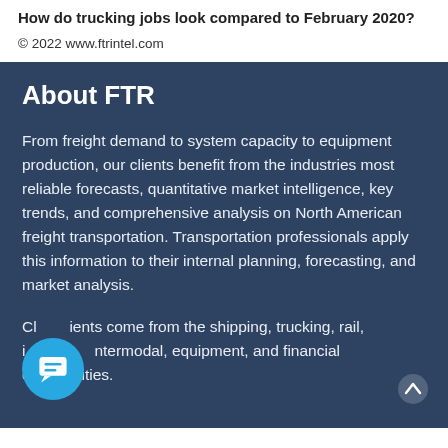How do trucking jobs look compared to February 2020?
© 2022 www.ftrintel.com
About FTR
From freight demand to system capacity to equipment production, our clients benefit from the industries most reliable forecasts, quantitative market intelligence, key trends, and comprehensive analysis on North American freight transportation. Transportation professionals apply this information to their internal planning, forecasting, and market analysis.
Clients come from the shipping, trucking, rail, intermodal, equipment, and financial communities.